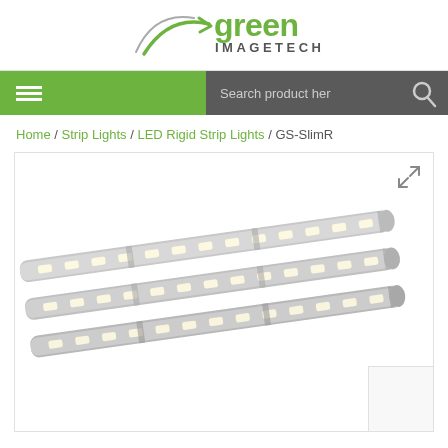[Figure (logo): Green ImageTech logo with stylized arrow/swoosh in green and grey text]
[Figure (screenshot): Navigation bar with green hamburger menu on left and dark grey search bar on right reading 'Search product her' with magnifying glass icon]
Home / Strip Lights / LED Rigid Strip Lights / GS-SlimR
[Figure (photo): Product photo of GS-SlimR LED rigid strip lights — three slim aluminium LED bar strips with warm white LEDs, shown at an angle. Expand icon in top right corner. Thumbnail overlay in bottom right corner.]